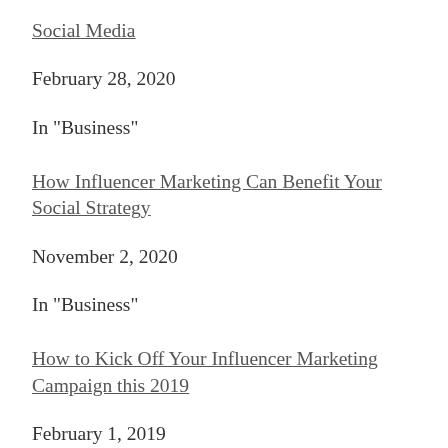Social Media
February 28, 2020
In "Business"
How Influencer Marketing Can Benefit Your Social Strategy
November 2, 2020
In "Business"
How to Kick Off Your Influencer Marketing Campaign this 2019
February 1, 2019